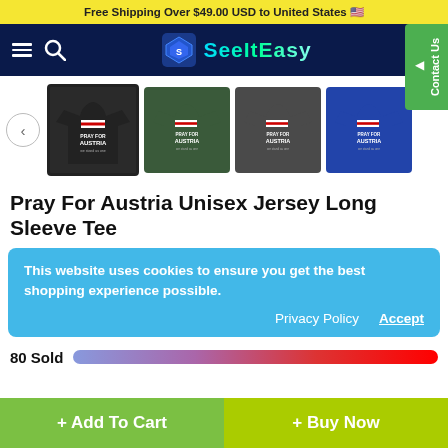Free Shipping Over $49.00 USD to United States 🇺🇸
[Figure (logo): SeeItEasy e-commerce website logo with navigation icons]
[Figure (photo): Product thumbnail gallery showing 4 long sleeve tee variants in black, dark green, dark gray, and royal blue, with left arrow navigation]
Pray For Austria Unisex Jersey Long Sleeve Tee
This website uses cookies to ensure you get the best shopping experience possible.
Privacy Policy  Accept
80 Sold
+ Add To Cart
+ Buy Now